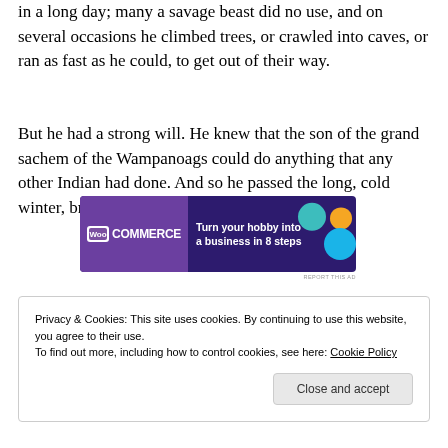in a long day; many a savage beast did no use, and on several occasions he climbed trees, or crawled into caves, or ran as fast as he could, to get out of their way.
But he had a strong will. He knew that the son of the grand sachem of the Wampanoags could do anything that any other Indian had done. And so he passed the long, cold winter, bravely and without complaining.
[Figure (other): WooCommerce advertisement banner: 'Turn your hobby into a business in 8 steps']
Privacy & Cookies: This site uses cookies. By continuing to use this website, you agree to their use.
To find out more, including how to control cookies, see here: Cookie Policy
Close and accept